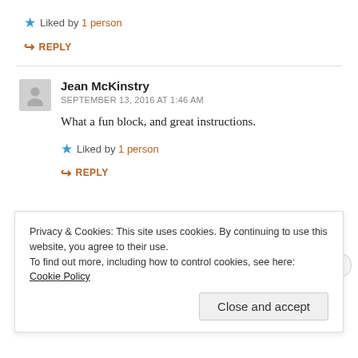Liked by 1 person
REPLY
Jean McKinstry
SEPTEMBER 13, 2016 AT 1:46 AM
What a fun block, and great instructions.
Liked by 1 person
REPLY
Privacy & Cookies: This site uses cookies. By continuing to use this website, you agree to their use. To find out more, including how to control cookies, see here: Cookie Policy
Close and accept